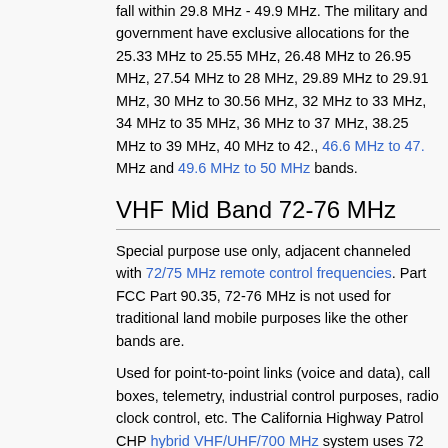fall within 29.8 MHz - 49.9 MHz. The military and government have exclusive allocations for the 25.33 MHz to 25.55 MHz, 26.48 MHz to 26.95 MHz, 27.54 MHz to 28 MHz, 29.89 MHz to 29.91 MHz, 30 MHz to 30.56 MHz, 32 MHz to 33 MHz, 34 MHz to 35 MHz, 36 MHz to 37 MHz, 38.25 MHz to 39 MHz, 40 MHz to 42., 46.6 MHz to 47. MHz and 49.6 MHz to 50 MHz bands.
VHF Mid Band 72-76 MHz
Special purpose use only, adjacent channeled with 72/75 MHz remote control frequencies. Part FCC Part 90.35, 72-76 MHz is not used for traditional land mobile purposes like the other bands are.
Used for point-to-point links (voice and data), call boxes, telemetry, industrial control purposes, radio clock control, etc. The California Highway Patrol CHP hybrid VHF/UHF/700 MHz system uses 72 MHz and 75 MHz, as well as microwave systems, to link remote receiver sites for its VHF low band...